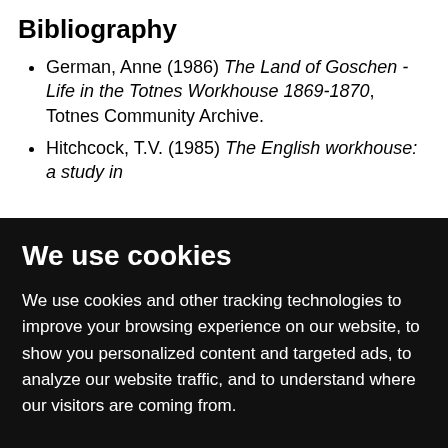Bibliography
German, Anne (1986) The Land of Goschen - Life in the Totnes Workhouse 1869-1870, Totnes Community Archive.
Hitchcock, T.V. (1985) The English workhouse: a study in
We use cookies
We use cookies and other tracking technologies to improve your browsing experience on our website, to show you personalized content and targeted ads, to analyze our website traffic, and to understand where our visitors are coming from.
I agree | Change my preferences